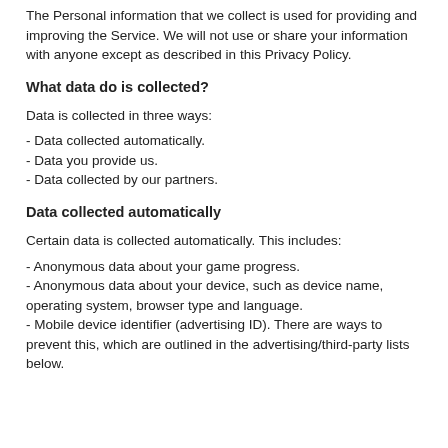The Personal information that we collect is used for providing and improving the Service. We will not use or share your information with anyone except as described in this Privacy Policy.
What data do is collected?
Data is collected in three ways:
- Data collected automatically.
- Data you provide us.
- Data collected by our partners.
Data collected automatically
Certain data is collected automatically. This includes:
- Anonymous data about your game progress.
- Anonymous data about your device, such as device name, operating system, browser type and language.
- Mobile device identifier (advertising ID). There are ways to prevent this, which are outlined in the advertising/third-party lists below.